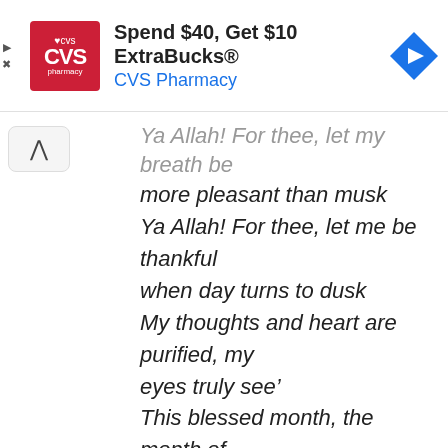[Figure (other): CVS Pharmacy advertisement banner: 'Spend $40, Get $10 ExtraBucks® CVS Pharmacy' with CVS logo and navigation icon]
Ya Allah! For thee, let my breath be more pleasant than musk
Ya Allah! For thee, let me be thankful when day turns to dusk
My thoughts and heart are purified, my eyes truly see'
This blessed month, the month of spiritual rhapsody!
Ya Allah! For thee, my life I shall live!
Ya Allah! For thee, my soul I shall give!
In the name of Allah, the most